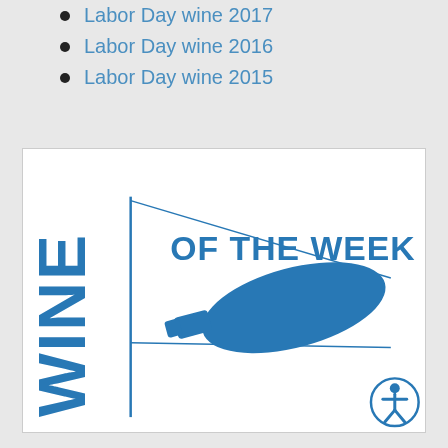Labor Day wine 2017
Labor Day wine 2016
Labor Day wine 2015
[Figure (logo): Wine of the Week logo — blue text 'WINE' written vertically on a flag pole with a blue pennant flag shape (wine bottle silhouette inside) and 'OF THE WEEK' written horizontally in bold blue text]